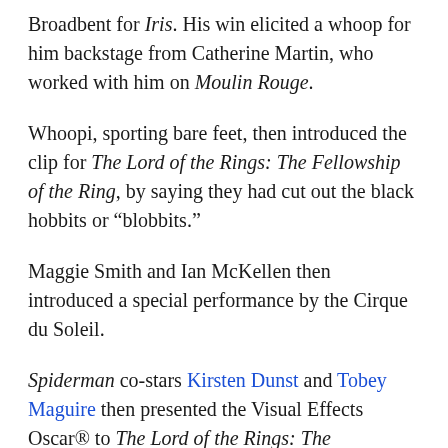Broadbent for Iris. His win elicited a whoop for him backstage from Catherine Martin, who worked with him on Moulin Rouge.
Whoopi, sporting bare feet, then introduced the clip for The Lord of the Rings: The Fellowship of the Ring, by saying they had cut out the black hobbits or "blobbits."
Maggie Smith and Ian McKellen then introduced a special performance by the Cirque du Soleil.
Spiderman co-stars Kirsten Dunst and Tobey Maguire then presented the Visual Effects Oscar® to The Lord of the Rings: The Fellowship of the Ring